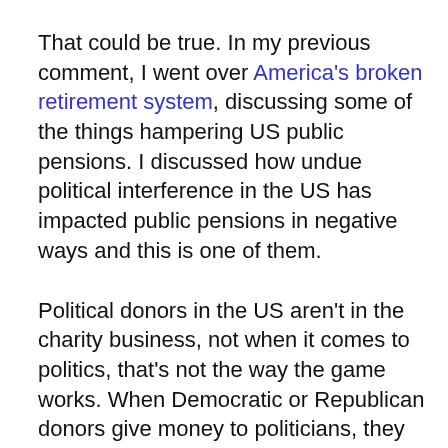That could be true. In my previous comment, I went over America's broken retirement system, discussing some of the things hampering US public pensions. I discussed how undue political interference in the US has impacted public pensions in negative ways and this is one of them.
Political donors in the US aren't in the charity business, not when it comes to politics, that's not the way the game works. When Democratic or Republican donors give money to politicians, they always expect favors in return, so it's more than likely that Chatham did receive some preferential treatment because it donated to the campaigns of these two governors.
Still, the hedge fund universe is very competitive, Chatham can't solely rely on its campaign donations to get money from state pensions, it needs to deliver strong